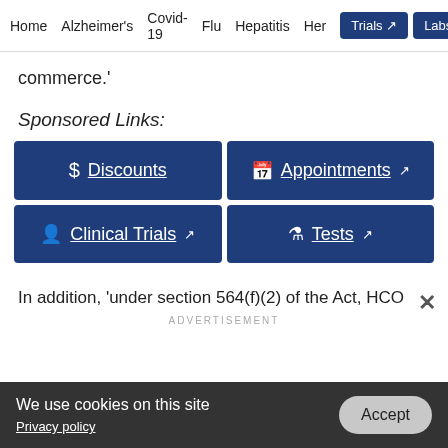Home   Alzheimer's   Covid-19   Flu   Hepatitis   Her   Trials   Labs
commerce.'
Sponsored Links:
[Figure (infographic): 2x2 grid of blue buttons: $ Discounts, Appointments (external), Clinical Trials (external), Tests (external)]
In addition, 'under section 564(f)(2) of the Act, HCO
ADVERTISEMENT
We use cookies on this site  Privacy policy  Accept